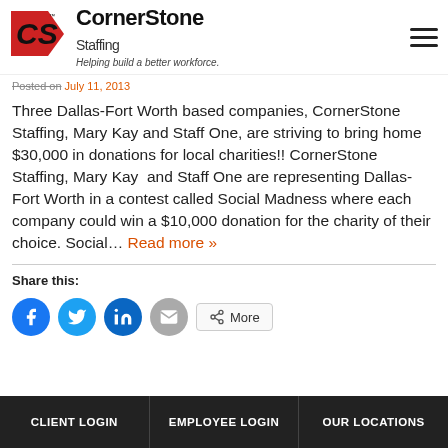CornerStone Staffing — Helping build a better workforce.
Posted on July 11, 2013
Three Dallas-Fort Worth based companies, CornerStone Staffing, Mary Kay and Staff One, are striving to bring home $30,000 in donations for local charities!! CornerStone Staffing, Mary Kay  and Staff One are representing Dallas-Fort Worth in a contest called Social Madness where each company could win a $10,000 donation for the charity of their choice. Social... Read more »
Share this:
[Figure (other): Social share buttons: Facebook, Twitter, LinkedIn, Email, More]
CLIENT LOGIN | EMPLOYEE LOGIN | OUR LOCATIONS